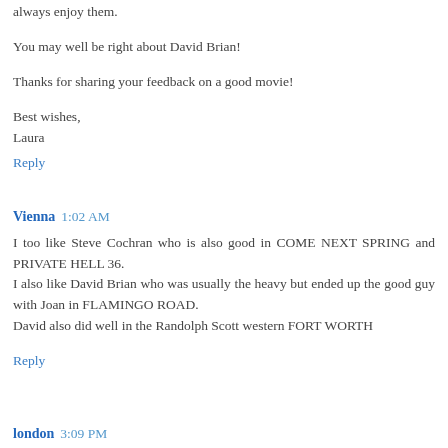always enjoy them.
You may well be right about David Brian!
Thanks for sharing your feedback on a good movie!
Best wishes,
Laura
Reply
Vienna  1:02 AM
I too like Steve Cochran who is also good in COME NEXT SPRING and PRIVATE HELL 36.
I also like David Brian who was usually the heavy but ended up the good guy with Joan in FLAMINGO ROAD.
David also did well in the Randolph Scott western FORT WORTH
Reply
london  3:09 PM